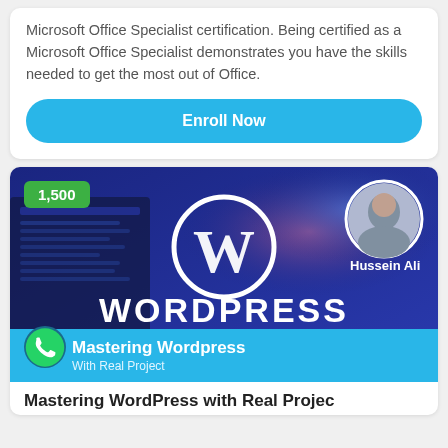Microsoft Office Specialist certification. Being certified as a Microsoft Office Specialist demonstrates you have the skills needed to get the most out of Office.
Enroll Now
[Figure (screenshot): WordPress course thumbnail with blue background showing the WordPress logo, instructor photo of Hussein Ali in top right, green badge showing 1,500, 'Mastering Wordpress With Real Project' text bar at bottom]
Mastering WordPress with Real Project